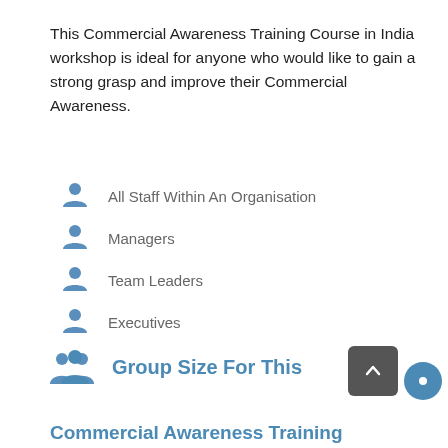This Commercial Awareness Training Course in India workshop is ideal for anyone who would like to gain a strong grasp and improve their Commercial Awareness.
All Staff Within An Organisation
Managers
Team Leaders
Executives
Assistants
Officers
Secretaries
Group Size For This
Commercial Awareness Training